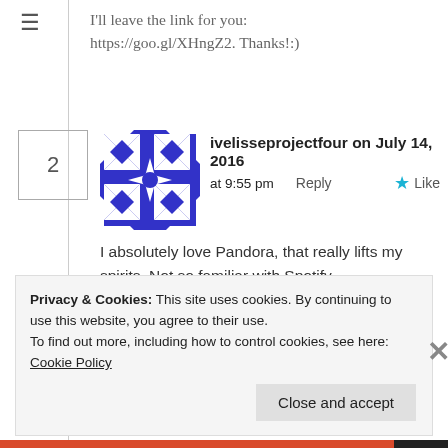I'll leave the link for you: https://goo.gl/XHngZ2. Thanks!:)
ivelisseprojectfour on July 14, 2016 at 9:55 pm Reply Like
I absolutely love Pandora, that really lifts my spirits. Not so familiar with Spotify.

Love,
Ivelisse | CarnationDreams.com
Privacy & Cookies: This site uses cookies. By continuing to use this website, you agree to their use. To find out more, including how to control cookies, see here: Cookie Policy
Close and accept